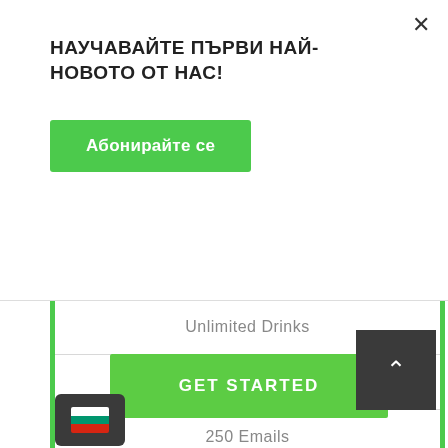НАУЧАВАЙТЕ ПЪРВИ НАЙ-НОВОТО ОТ НАС!
Абонирайте се
Unlimited Drinks
Free Domain Inclided
250 Emails
Unlimited Lifetime Support
GET STARTED